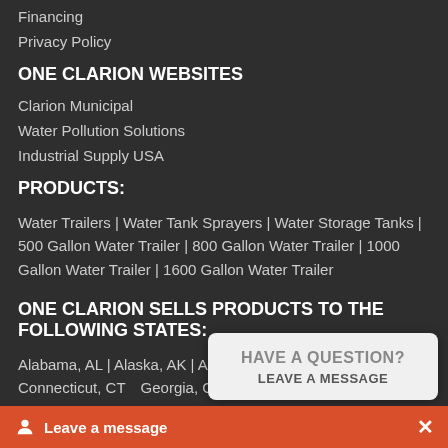Financing
Privacy Policy
ONE CLARION WEBSITES
Clarion Municipal
Water Pollution Solutions
Industrial Supply USA
PRODUCTS:
Water Trailers | Water Tank Sprayers | Water Storage Tanks | 500 Gallon Water Trailer | 800 Gallon Water Trailer | 1000 Gallon Water Trailer | 1600 Gallon Water Trailer
ONE CLARION SELLS PRODUCTS TO THE FOLLOWING STATES:
Alabama, AL | Alaska, AK | Arizona, ... CA | Colorado, CO | Connecticut, CT... Georgia, GA | Hawaii, HI | Idaho, ID...
[Figure (screenshot): Chat popup overlay with 'HAVE A QUESTION? LEAVE A MESSAGE' and orange 'Leave a message' bar with X close button]